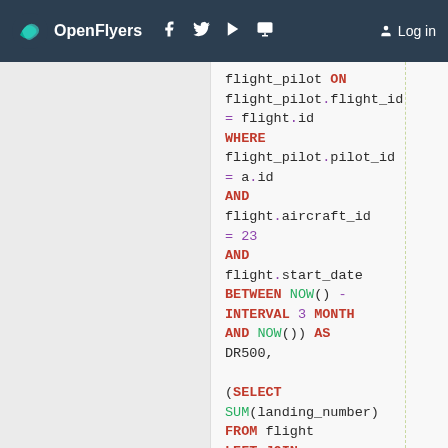OpenFlyers | Log in
SQL code snippet showing flight_pilot ON flight_pilot.flight_id = flight.id WHERE flight_pilot.pilot_id = a.id AND flight.aircraft_id = 23 AND flight.start_date BETWEEN NOW() - INTERVAL 3 MONTH AND NOW()) AS DR500, (SELECT SUM(landing_number) FROM flight LEFT JOIN flight_pilot ON flight_pilot.flight_id = flight.id WHERE flight_pilot.pilot_id = a.id AND